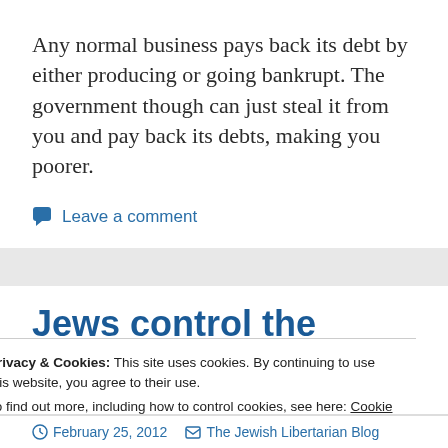Any normal business pays back its debt by either producing or going bankrupt. The government though can just steal it from you and pay back its debts, making you poorer.
Leave a comment
Jews control the
Privacy & Cookies: This site uses cookies. By continuing to use this website, you agree to their use.
To find out more, including how to control cookies, see here: Cookie Policy
Close and accept
February 25, 2012   The Jewish Libertarian Blog